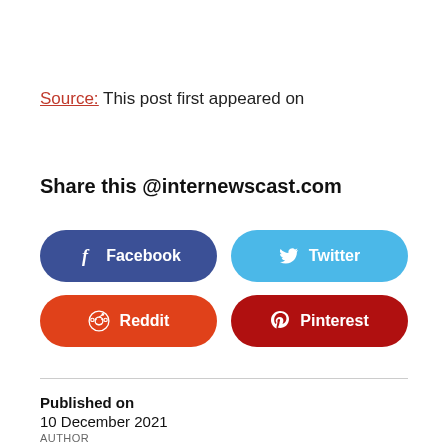Source: This post first appeared on
Share this @internewscast.com
[Figure (other): Social share buttons: Facebook (dark blue), Twitter (light blue), Reddit (orange-red), Pinterest (dark red)]
Published on
10 December 2021
AUTHOR